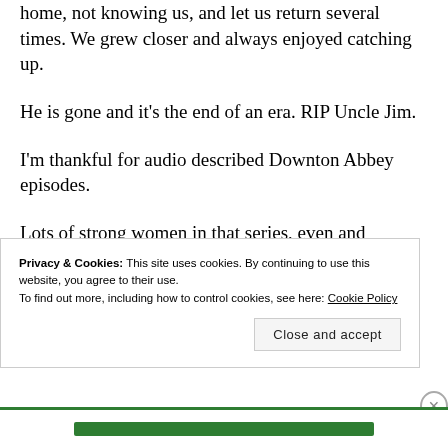home, not knowing us, and let us return several times. We grew closer and always enjoyed catching up.
He is gone and it’s the end of an era. RIP Uncle Jim.
I’m thankful for audio described Downton Abbey episodes.
Lots of strong women in that series, even and especially for the time.
Privacy & Cookies: This site uses cookies. By continuing to use this website, you agree to their use.
To find out more, including how to control cookies, see here: Cookie Policy
Close and accept